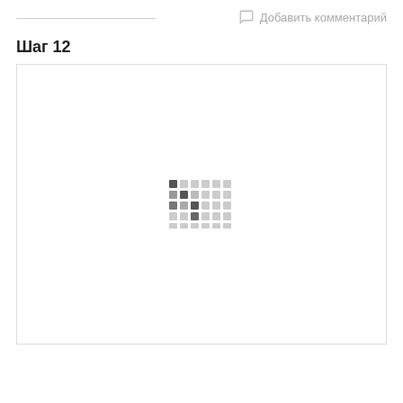Добавить комментарий
Шаг 12
[Figure (photo): Loading spinner / image placeholder with a small dot-matrix loading indicator in the center of a white bordered box]